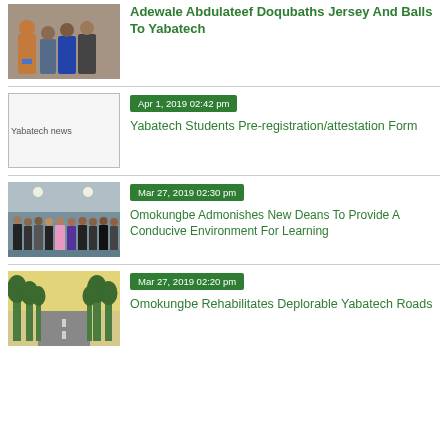[Figure (photo): Group photo of people with a jersey and balls]
Adewale Abdulateef Doqubaths Jersey And Balls To Yabatech
[Figure (other): Yabatech news placeholder image]
Apr 1, 2019 02:42 pm
Yabatech Students Pre-registration/attestation Form
[Figure (photo): Group of people standing in a hall]
Mar 27, 2019 02:30 pm
Omokungbe Admonishes New Deans To Provide A Conducive Environment For Learning
[Figure (photo): A road lined with trees]
Mar 27, 2019 02:20 pm
Omokungbe Rehabilitates Deplorable Yabatech Roads